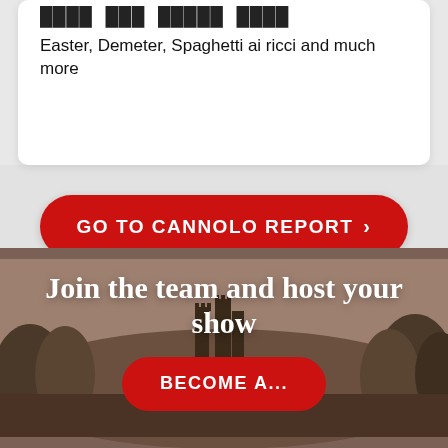Easter, Demeter, Spaghetti ai ricci and much more
GO TO CANNOLO REPORT ›
Join the team and host your show
BECOME A...